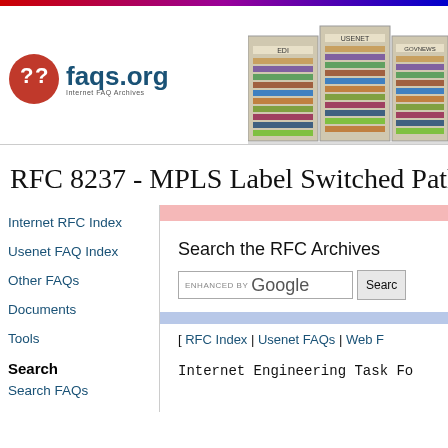[Figure (logo): faqs.org logo with red circle and question marks, blue text 'faqs.org', subtitle 'Internet FAQ Archives']
[Figure (illustration): Bookshelf cabinet illustration with labeled sections: EDI, USENET, GOVNEWS]
RFC 8237 - MPLS Label Switched Path (L...
Internet RFC Index
Usenet FAQ Index
Other FAQs
Documents
Tools
Search
Search the RFC Archives
[ RFC Index | Usenet FAQs | Web ...
Internet Engineering Task Fo...